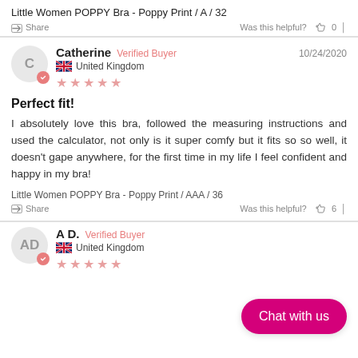Little Women POPPY Bra - Poppy Print / A / 32
Share   Was this helpful?  0
Catherine  Verified Buyer  10/24/2020  United Kingdom
★★★★★
Perfect fit!
I absolutely love this bra, followed the measuring instructions and used the calculator, not only is it super comfy but it fits so so well, it doesn't gape anywhere, for the first time in my life I feel confident and happy in my bra!
Little Women POPPY Bra - Poppy Print / AAA / 36
Share   Was this helpful?  6
A D.  Verified Buyer  United Kingdom
★★★★★